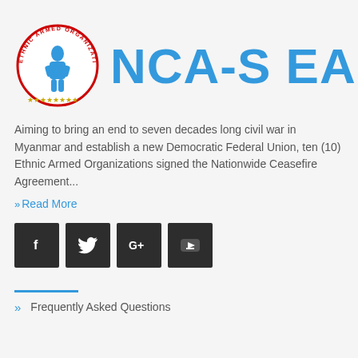[Figure (logo): NCA-S EAO logo: circular emblem with 'ETHNIC ARMED ORGANIZATIONS' text in red around the border, blue silhouette figure in center, gold stars at bottom, next to large blue text 'NCA-S EAO']
Aiming to bring an end to seven decades long civil war in Myanmar and establish a new Democratic Federal Union, ten (10) Ethnic Armed Organizations signed the Nationwide Ceasefire Agreement...
»Read More
[Figure (infographic): Four social media icon buttons: Facebook (f), Twitter (bird), Google+ (G+), YouTube (play button) — all dark/black square buttons with white icons]
[Figure (other): Blue horizontal divider line]
Frequently Asked Questions